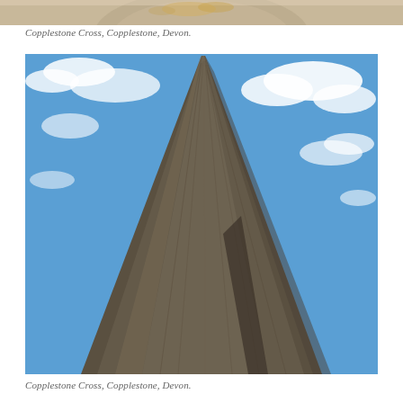[Figure (photo): Partial top view of a circular stone cross or decorative element, cropped at the top of the page — only the upper portion is visible.]
Copplestone Cross, Copplestone, Devon.
[Figure (photo): Close-up upward-looking photograph of the Copplestone Cross, a tall rough-textured granite standing stone tapering to a point, set against a bright blue sky with white clouds.]
Copplestone Cross, Copplestone, Devon.